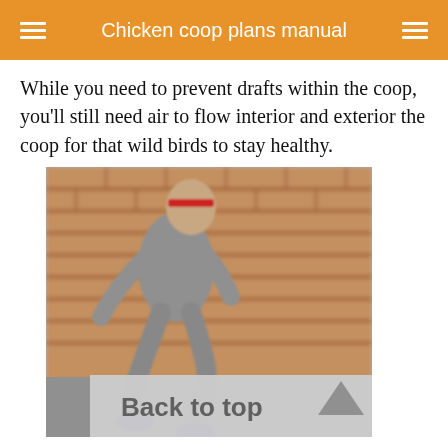Chicken coop plans manual
While you need to prevent drafts within the coop, you'll still need air to flow interior and exterior the coop for that wild birds to stay healthy.
[Figure (photo): A man in grey athletic clothes running or jogging, photographed with motion blur in front of a brick wall. A red headband is visible on his head.]
Back to top